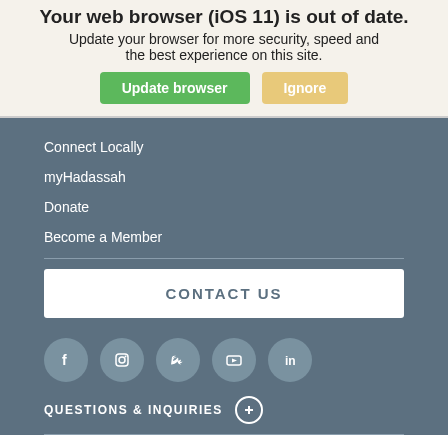Your web browser (iOS 11) is out of date. Update your browser for more security, speed and the best experience on this site.
Update browser | Ignore
Connect Locally
myHadassah
Donate
Become a Member
CONTACT US
[Figure (other): Social media icons row: Facebook, Instagram, Twitter, YouTube, LinkedIn]
QUESTIONS & INQUIRIES